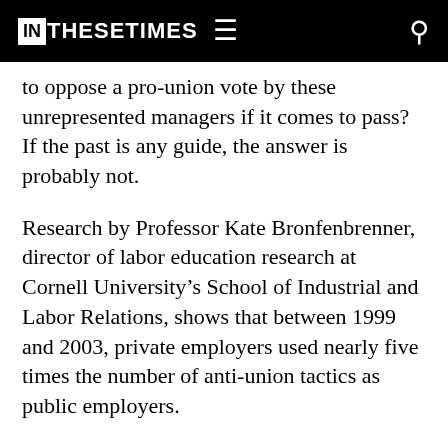IN THESE TIMES
to oppose a pro-union vote by these unrepresented managers if it comes to pass? If the past is any guide, the answer is probably not.
Research by Professor Kate Bronfenbrenner, director of labor education research at Cornell University's School of Industrial and Labor Relations, shows that between 1999 and 2003, private employers used nearly five times the number of anti-union tactics as public employers.
“In 48 percent of public-sector campaigns,” she notes in her 2009 report “No Holds Barred: The Intensification of Employer Opposition to Organizing,” “the employer did not campaign at all –